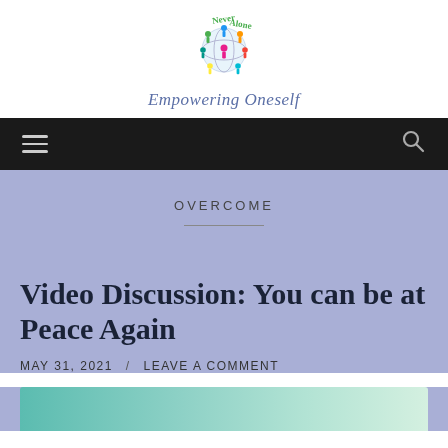[Figure (logo): Never Alone Empowering Oneself logo with colorful figures around a globe and green cursive 'Never Alone' text and italic blue 'Empowering Oneself' tagline]
[Figure (other): Black navigation bar with hamburger menu icon on the left and search icon on the right]
OVERCOME
Video Discussion: You can be at Peace Again
MAY 31, 2021  /  LEAVE A COMMENT
[Figure (other): Teal/green gradient thumbnail strip at the bottom of the page]